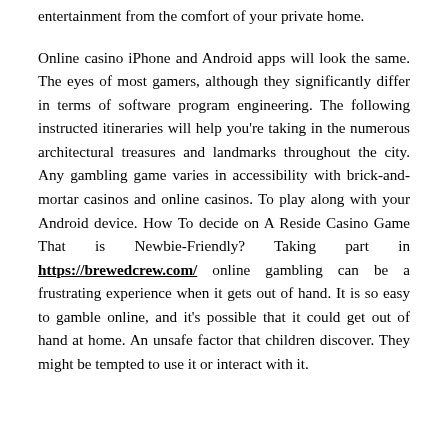entertainment from the comfort of your private home.
Online casino iPhone and Android apps will look the same. The eyes of most gamers, although they significantly differ in terms of software program engineering. The following instructed itineraries will help you're taking in the numerous architectural treasures and landmarks throughout the city. Any gambling game varies in accessibility with brick-and-mortar casinos and online casinos. To play along with your Android device. How To decide on A Reside Casino Game That is Newbie-Friendly? Taking part in https://brewedcrew.com/ online gambling can be a frustrating experience when it gets out of hand. It is so easy to gamble online, and it's possible that it could get out of hand at home. An unsafe factor that children discover. They might be tempted to use it or interact with it.